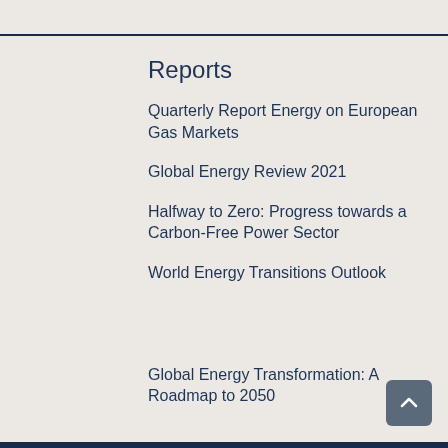Reports
Quarterly Report Energy on European Gas Markets
Global Energy Review 2021
Halfway to Zero: Progress towards a Carbon-Free Power Sector
World Energy Transitions Outlook
Global Energy Transformation: A Roadmap to 2050